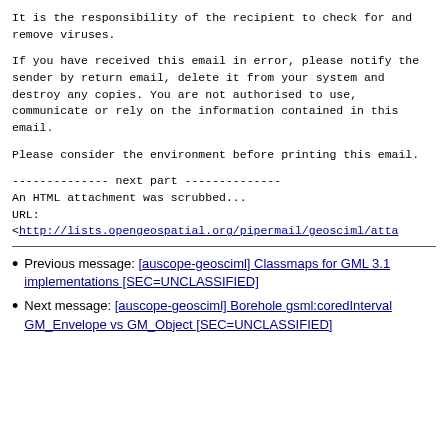It is the responsibility of the recipient to check for and remove viruses.
If you have received this email in error, please notify the sender by return email, delete it from your system and destroy any copies. You are not authorised to use, communicate or rely on the information contained in this email.
Please consider the environment before printing this email.
-------------- next part --------------
An HTML attachment was scrubbed...
URL:
<http://lists.opengeospatial.org/pipermail/geosciml/atta
Previous message: [auscope-geosciml] Classmaps for GML 3.1 implementations [SEC=UNCLASSIFIED]
Next message: [auscope-geosciml] Borehole gsml:coredInterval GM_Envelope vs GM_Object [SEC=UNCLASSIFIED]